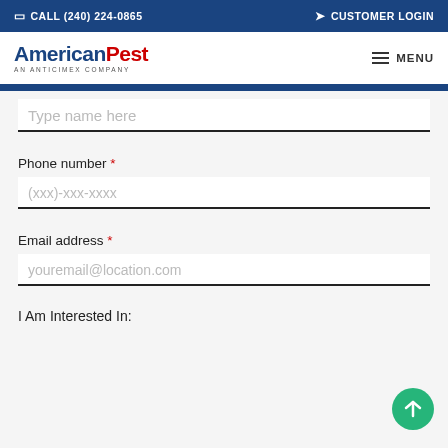CALL (240) 224-0865   CUSTOMER LOGIN
[Figure (logo): AmericanPest logo — 'American' in dark blue bold, 'Pest' in red bold, subtitle 'AN ANTICIMEX COMPANY' below]
Type name here
Phone number *
(xxx)-xxx-xxxx
Email address *
youremail@location.com
I Am Interested In: